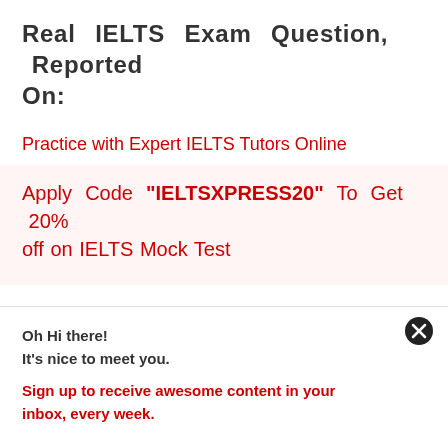Real IELTS Exam Question, Reported On:
Practice with Expert IELTS Tutors Online
Apply Code "IELTSXPRESS20" To Get 20% off on IELTS Mock Test
Oh Hi there!
It's nice to meet you.
Sign up to receive awesome content in your inbox, every week.